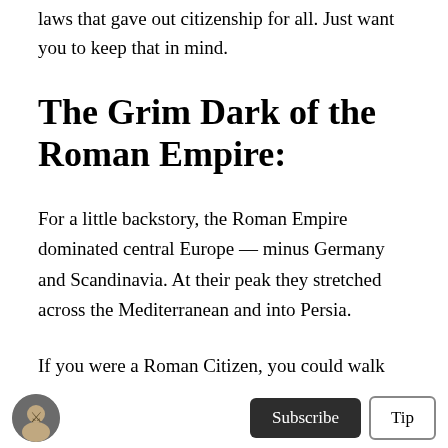laws that gave out citizenship for all. Just want you to keep that in mind.
The Grim Dark of the Roman Empire:
For a little backstory, the Roman Empire dominated central Europe — minus Germany and Scandinavia. At their peak they stretched across the Mediterranean and into Persia.
If you were a Roman Citizen, you could walk the roads of the Known World: assured that you were